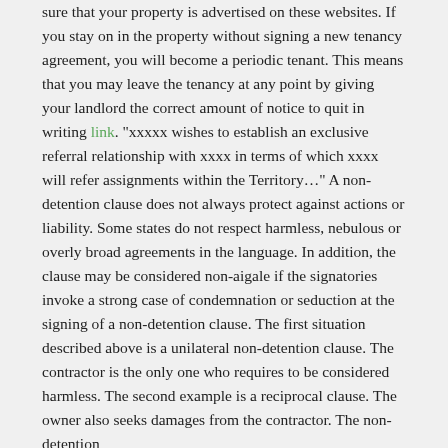sure that your property is advertised on these websites. If you stay on in the property without signing a new tenancy agreement, you will become a periodic tenant. This means that you may leave the tenancy at any point by giving your landlord the correct amount of notice to quit in writing link. "xxxxx wishes to establish an exclusive referral relationship with xxxx in terms of which xxxx will refer assignments within the Territory..." A non-detention clause does not always protect against actions or liability. Some states do not respect harmless, nebulous or overly broad agreements in the language. In addition, the clause may be considered non-aigale if the signatories invoke a strong case of condemnation or seduction at the signing of a non-detention clause. The first situation described above is a unilateral non-detention clause. The contractor is the only one who requires to be considered harmless. The second example is a reciprocal clause. The owner also seeks damages from the contractor. The non-detention